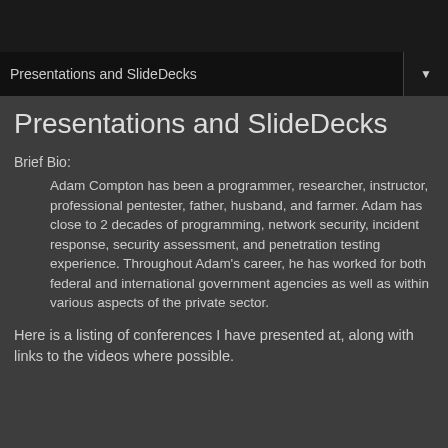Presentations and SlideDecks
Presentations and SlideDecks
Brief Bio:
Adam Compton has been a programmer, researcher, instructor, professional pentester, father, husband, and farmer. Adam has close to 2 decades of programming, network security, incident response, security assessment, and penetration testing experience. Throughout Adam's career, he has worked for both federal and international government agencies as well as within various aspects of the private sector.
Here is a listing of conferences I have presented at, along with links to the videos where possible.